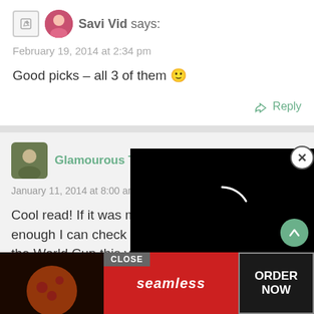Savi Vid says:
February 19, 2014 at 2:34 pm
Good picks – all 3 of them 🙂
Reply
[Figure (screenshot): Black video player overlay with loading spinner arc]
Glamourous Traveller says:
January 11, 2014 at 8:00 am
Cool read! If it was me, for sure enough I can check out carnavale! and of course the World Cup this year
Reply
[Figure (screenshot): Advertisement banner: CLOSE button, pizza image, seamless logo in red, ORDER NOW button]